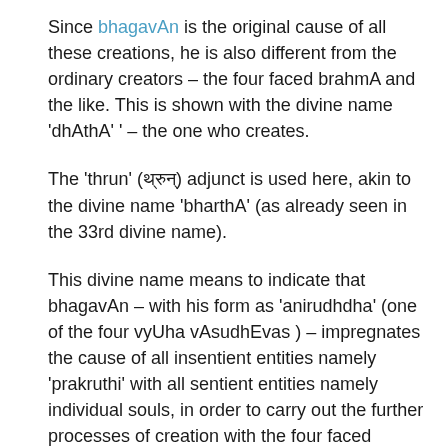Since bhagavAn is the original cause of all these creations, he is also different from the ordinary creators – the four faced brahmA and the like. This is shown with the divine name 'dhAthA' ' – the one who creates.
The 'thrun' (थ्रुन्) adjunct is used here, akin to the divine name 'bharthA' (as already seen in the 33rd divine name).
This divine name means to indicate that bhagavAn – with his form as 'anirudhdha' (one of the four vyUha vAsudhEvas ) – impregnates the cause of all insentient entities namely 'prakruthi' with all sentient entities namely individual souls, in order to carry out the further processes of creation with the four faced brahmA. This is shown in one of the scriptural